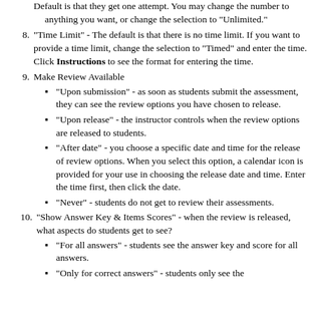Default is that they get one attempt. You may change the number to anything you want, or change the selection to "Unlimited."
8. "Time Limit" - The default is that there is no time limit. If you want to provide a time limit, change the selection to "Timed" and enter the time. Click Instructions to see the format for entering the time.
9. Make Review Available
"Upon submission" - as soon as students submit the assessment, they can see the review options you have chosen to release.
"Upon release" - the instructor controls when the review options are released to students.
"After date" - you choose a specific date and time for the release of review options. When you select this option, a calendar icon is provided for your use in choosing the release date and time. Enter the time first, then click the date.
"Never" - students do not get to review their assessments.
10. "Show Answer Key & Items Scores" - when the review is released, what aspects do students get to see?
"For all answers" - students see the answer key and score for all answers.
"Only for correct answers" - students only see the answer key and score for correct answers.